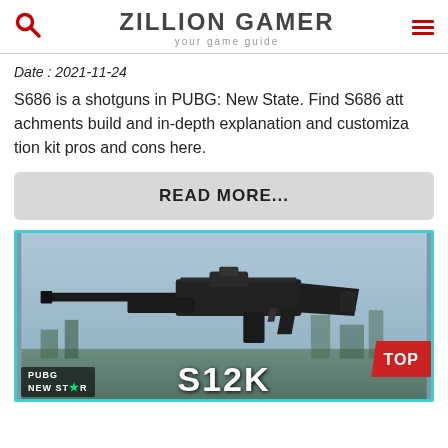ZILLION GAMER — your game guide
Date : 2021-11-24
S686 is a shotguns in PUBG: New State. Find S686 attachments build and in-depth explanation and customization kit pros and cons here.
READ MORE...
[Figure (photo): Screenshot from PUBG New State showing the S12K shotgun weapon on a blurred cityscape background, with teal border frame, PUBG New State badge in bottom-left, S12K text overlay at bottom center, and a red TOP badge in bottom-right corner.]